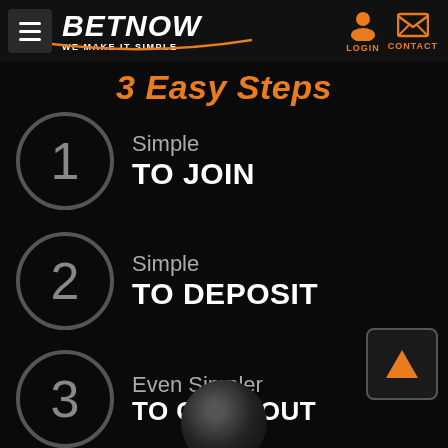BETNOW — WE MAKE IT SIMPLE
3 Easy Steps
Simple TO JOIN
Simple TO DEPOSIT
Even Simpler TO CASH OUT